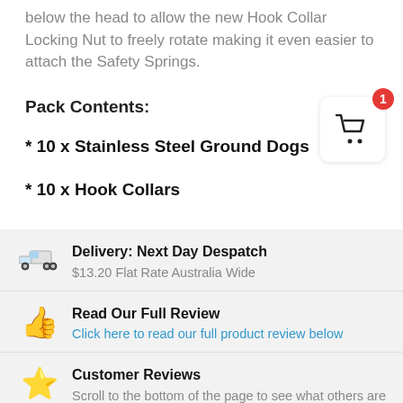below the head to allow the new Hook Collar Locking Nut to freely rotate making it even easier to attach the Safety Springs.
Pack Contents:
* 10 x Stainless Steel Ground Dogs
* 10 x Hook Collars
[Figure (illustration): Shopping cart icon with red badge showing number 1]
Delivery: Next Day Despatch
$13.20 Flat Rate Australia Wide
Read Our Full Review
Click here to read our full product review below
Customer Reviews
Scroll to the bottom of the page to see what others are saying.